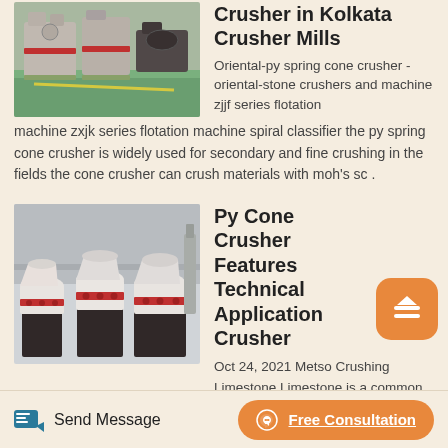[Figure (photo): Industrial cone crusher machines in a factory setting with green floor]
Crusher in Kolkata Crusher Mills
Oriental-py spring cone crusher - oriental-stone crushers and machine zjjf series flotation machine zxjk series flotation machine spiral classifier the py spring cone crusher is widely used for secondary and fine crushing in the fields the cone crusher can crush materials with moh's sc .
[Figure (photo): White industrial py cone crushers on black stands in a factory]
Py Cone Crusher Features Technical Application Crusher
Oct 24, 2021 Metso Crushing Limestone Limestone is a common easy to crush sedimentary rock that is a soft to medium-hard. Crushed limestone
Send Message
Free Consultation